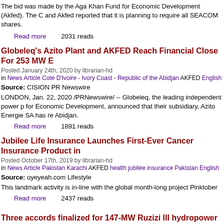The bid was made by the Aga Khan Fund for Economic Development (Akfed). The C and Akfed reported that it is planning to require all SEACOM shares.
Read more   2031 reads
Globeleq's Azito Plant and AKFED Reach Financial Close For 253 MW E
Posted January 24th, 2020 by librarian-hd
in News Article Cote D'Ivoire - Ivory Coast - Republic of the Abidjan AKFED English
Source: CISION PR Newswire
LONDON, Jan. 22, 2020 /PRNewswire/ -- Globeleq, the leading independent power p for Economic Development, announced that their subsidiary, Azito Energie SA has re Abidjan.
Read more   1891 reads
Jubilee Life Insurance Launches First-Ever Cancer Insurance Product in
Posted October 17th, 2019 by librarian-hd
in News Article Pakistan Karachi AKFED health jubilee insurance Pakistan English
Source: oyeyeah.com Lifestyle
This landmark activity is in-line with the global month-long project Pinktober
Read more   2437 reads
Three accords finalized for 147-MW Ruzizi III hydropower project-betw